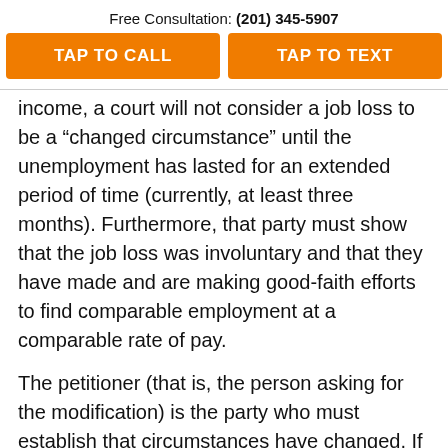Free Consultation: (201) 345-5907
TAP TO CALL
TAP TO TEXT
income, a court will not consider a job loss to be a “changed circumstance” until the unemployment has lasted for an extended period of time (currently, at least three months). Furthermore, that party must show that the job loss was involuntary and that they have made and are making good-faith efforts to find comparable employment at a comparable rate of pay.
The petitioner (that is, the person asking for the modification) is the party who must establish that circumstances have changed. If